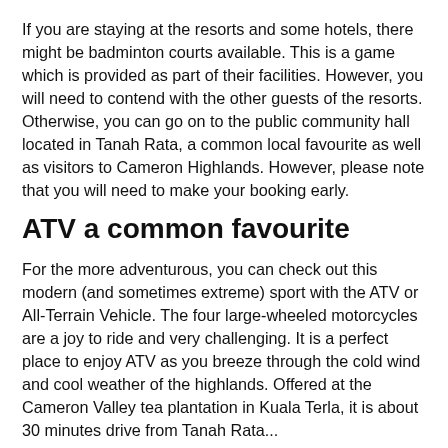If you are staying at the resorts and some hotels, there might be badminton courts available. This is a game which is provided as part of their facilities. However, you will need to contend with the other guests of the resorts. Otherwise, you can go on to the public community hall located in Tanah Rata, a common local favourite as well as visitors to Cameron Highlands. However, please note that you will need to make your booking early.
ATV a common favourite
For the more adventurous, you can check out this modern (and sometimes extreme) sport with the ATV or All-Terrain Vehicle. The four large-wheeled motorcycles are a joy to ride and very challenging. It is a perfect place to enjoy ATV as you breeze through the cold wind and cool weather of the highlands. Offered at the Cameron Valley tea plantation in Kuala Terla, it is about 30 minutes drive from Tanah Rata...